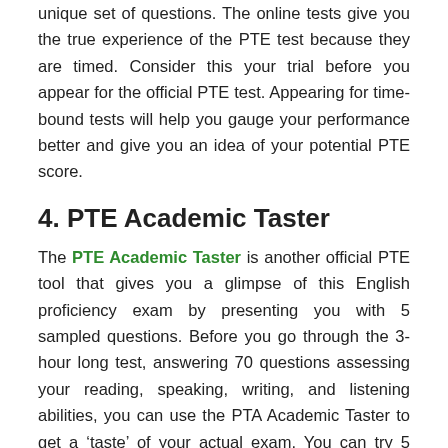unique set of questions. The online tests give you the true experience of the PTE test because they are timed. Consider this your trial before you appear for the official PTE test. Appearing for time-bound tests will help you gauge your performance better and give you an idea of your potential PTE score.
4. PTE Academic Taster
The PTE Academic Taster is another official PTE tool that gives you a glimpse of this English proficiency exam by presenting you with 5 sampled questions. Before you go through the 3-hour long test, answering 70 questions assessing your reading, speaking, writing, and listening abilities, you can use the PTA Academic Taster to get a ‘taste’ of your actual exam. You can try 5 sample questions and get instant feedback on your performance. The questions are based on the following formats:
Fill in the blanks